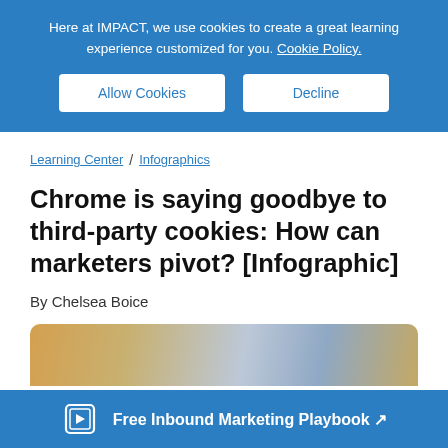Here at IMPACT, we use cookies to create a great learning experience customized for you. Cookie Policy.
Allow Cookies | Decline
Learning Center / Infographics
Chrome is saying goodbye to third-party cookies: How can marketers pivot? [Infographic]
By Chelsea Boice
[Figure (photo): Partial view of people in a casual setting, cropped to show an article header image]
Free Inbound Marketing Playbook ↗